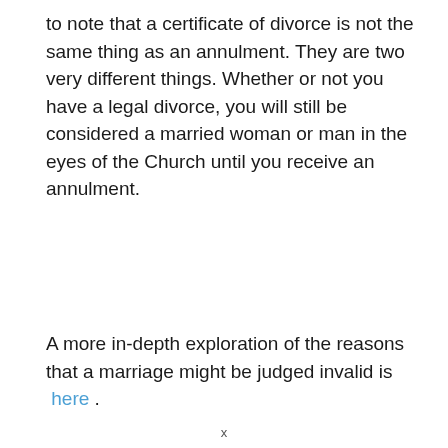to note that a certificate of divorce is not the same thing as an annulment. They are two very different things. Whether or not you have a legal divorce, you will still be considered a married woman or man in the eyes of the Church until you receive an annulment.
A more in-depth exploration of the reasons that a marriage might be judged invalid is here .
x